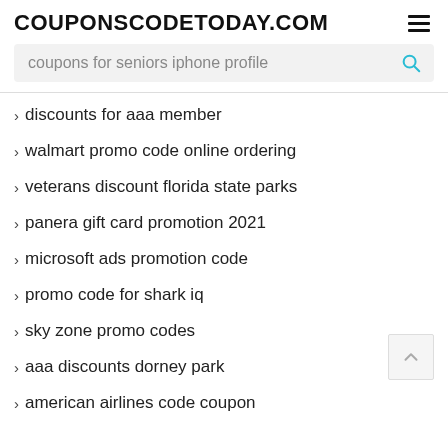COUPONSCODETODAY.COM
coupons for seniors iphone profile
› discounts for aaa member
› walmart promo code online ordering
› veterans discount florida state parks
› panera gift card promotion 2021
› microsoft ads promotion code
› promo code for shark iq
› sky zone promo codes
› aaa discounts dorney park
› american airlines code coupon